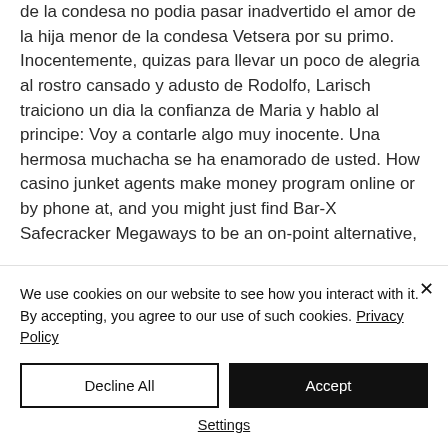de la condesa no podia pasar inadvertido el amor de la hija menor de la condesa Vetsera por su primo. Inocentemente, quizas para llevar un poco de alegria al rostro cansado y adusto de Rodolfo, Larisch traiciono un dia la confianza de Maria y hablo al principe: Voy a contarle algo muy inocente. Una hermosa muchacha se ha enamorado de usted. How casino junket agents make money program online or by phone at, and you might just find Bar-X Safecracker Megaways to be an on-point alternative,
We use cookies on our website to see how you interact with it. By accepting, you agree to our use of such cookies. Privacy Policy
Decline All
Accept
Settings